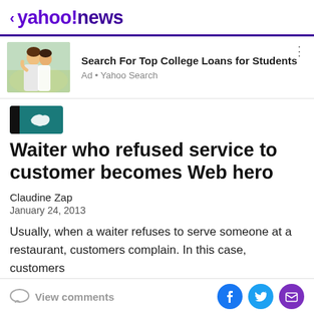< yahoo!news
[Figure (other): Advertisement banner: image of two happy young people outdoors, with text 'Search For Top College Loans for Students' and 'Ad • Yahoo Search']
[Figure (logo): Source publication logo with teal background, black vertical bar on left, and white USA map silhouette icon]
Waiter who refused service to customer becomes Web hero
Claudine Zap
January 24, 2013
Usually, when a waiter refuses to serve someone at a restaurant, customers complain. In this case, customers
View comments